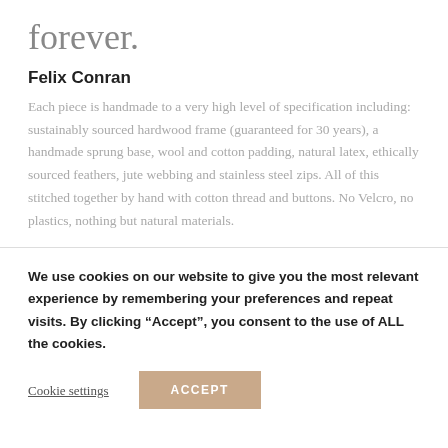forever.
Felix Conran
Each piece is handmade to a very high level of specification including: sustainably sourced hardwood frame (guaranteed for 30 years), a handmade sprung base, wool and cotton padding, natural latex, ethically sourced feathers, jute webbing and stainless steel zips. All of this stitched together by hand with cotton thread and buttons. No Velcro, no plastics, nothing but natural materials.
We use cookies on our website to give you the most relevant experience by remembering your preferences and repeat visits. By clicking “Accept”, you consent to the use of ALL the cookies.
Cookie settings
ACCEPT